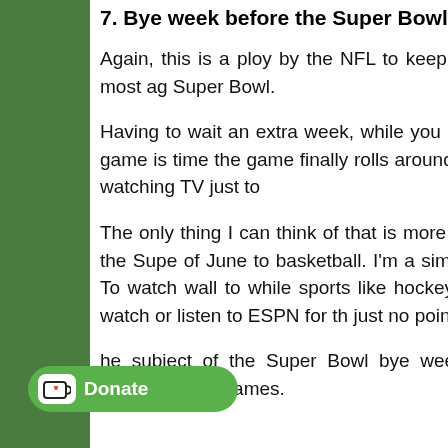7. Bye week before the Super Bowl
Again, this is a ploy by the NFL to keep football in the public eye as long as possible and it quite possibly one of the most annoying things about the Super Bowl.
Having to wait an extra week, while you listen to every sports talking head debate everything about the upcoming big game is absolutely maddening. By the time the game finally rolls around, I've gotten so tired of hearing everything about it that I practically stopped watching TV just to avoid it.
The only thing I can think of that is more tedious is having to watch every minute of programming from the moment the Super Bowl ends until the middle of June to basketball. I'm a simple kid from West Virginia, I never got basketball and I really never did. To watch wall to wall coverage of basketball while sports like hockey and baseball are virtually ignored is the sole reason that I do not watch or listen to ESPN for the months. There is just no point. They are not showing anything I care about.
he subject of the Super Bowl bye week, Co a favor and play the damn game the S championship games.
[Figure (other): Donate button with Ko-fi cup icon]